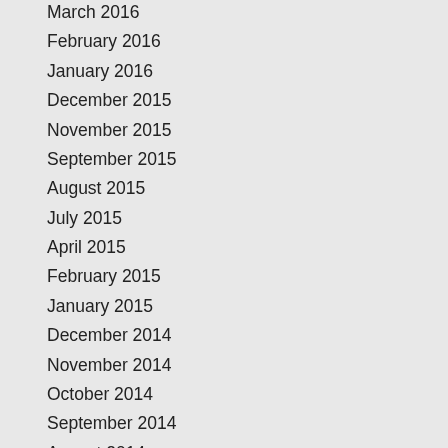March 2016
February 2016
January 2016
December 2015
November 2015
September 2015
August 2015
July 2015
April 2015
February 2015
January 2015
December 2014
November 2014
October 2014
September 2014
August 2014
July 2014
June 2014
May 2014